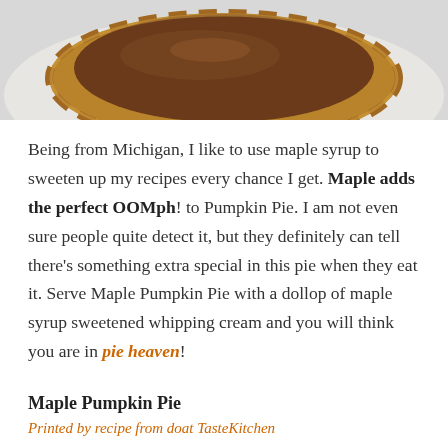[Figure (photo): Cropped photo of a pumpkin pie from above, showing golden-brown crimped crust and dark pumpkin filling, on a light plate background]
Being from Michigan, I like to use maple syrup to sweeten up my recipes every chance I get. Maple adds the perfect OOMph! to Pumpkin Pie.  I am not even sure people quite detect it, but they definitely can tell there's something extra special in this pie when they eat it.  Serve Maple Pumpkin Pie with a dollop of maple syrup sweetened whipping cream and you will think you are in pie heaven!
Maple Pumpkin Pie
Printed by recipe from doat TasteKitchen